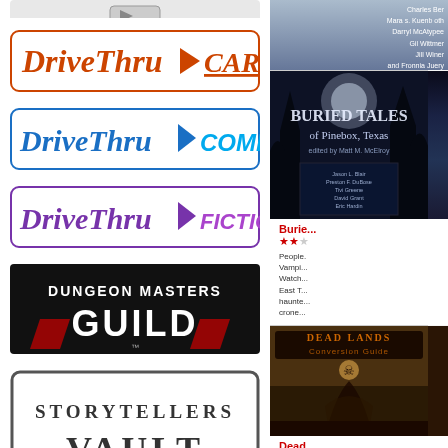[Figure (logo): DriveThruCards logo with orange/red italic text]
[Figure (logo): DriveThruComics logo with blue italic text]
[Figure (logo): DriveThruFiction logo with purple italic text]
[Figure (logo): Dungeon Masters Guild logo, black background with red accent]
[Figure (logo): Storytellers Vault logo with serif bold text, bordered]
[Figure (photo): Partial book cover at top right with author names]
[Figure (photo): Buried Tales of Pinebox Texas book cover, dark atmospheric]
Buried Tales...
People. Vampires. Watch. East T. haunt. crone
[Figure (photo): Deadlands Conversion Guide book cover]
Dead...
Wheth. Camp. wants camp. Conv.